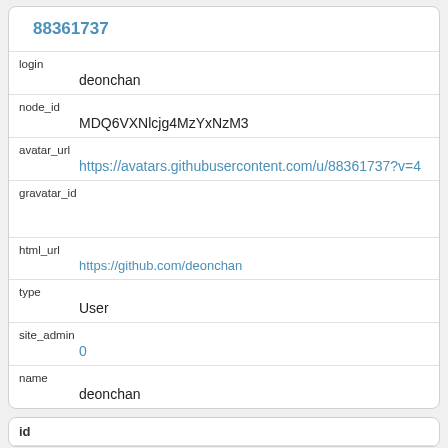| key | value |
| --- | --- |
| id | 88361737 |
| login | deonchan |
| node_id | MDQ6VXNlcjg4MzYxNzM3 |
| avatar_url | https://avatars.githubusercontent.com/u/88361737?v=4 |
| gravatar_id |  |
| html_url | https://github.com/deonchan |
| type | User |
| site_admin | 0 |
| name | deonchan |
| key |
| --- |
| id |